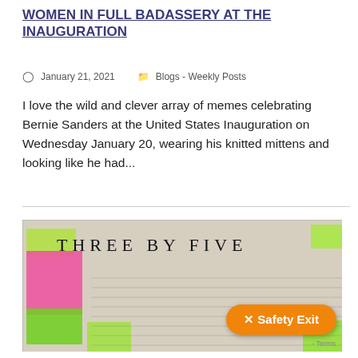WOMEN IN FULL BADASSERY AT THE INAUGURATION
January 21, 2021   Blogs - Weekly Posts
I love the wild and clever array of memes celebrating Bernie Sanders at the United States Inauguration on Wednesday January 20, wearing his knitted mittens and looking like he had...
[Figure (photo): Photo showing a collage of handwritten notes and sticky notes (pink and green) on paper with the text THREE BY FIVE prominently displayed, along with an orange Safety Exit button overlay in the bottom right corner.]